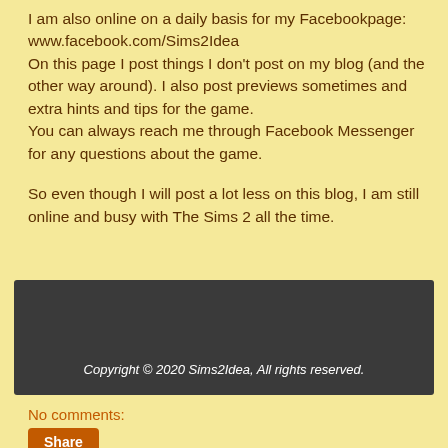I am also online on a daily basis for my Facebookpage: www.facebook.com/Sims2Idea On this page I post things I don't post on my blog (and the other way around). I also post previews sometimes and extra hints and tips for the game. You can always reach me through Facebook Messenger for any questions about the game.
So even though I will post a lot less on this blog, I am still online and busy with The Sims 2 all the time.
Copyright © 2020 Sims2Idea, All rights reserved.
No comments: